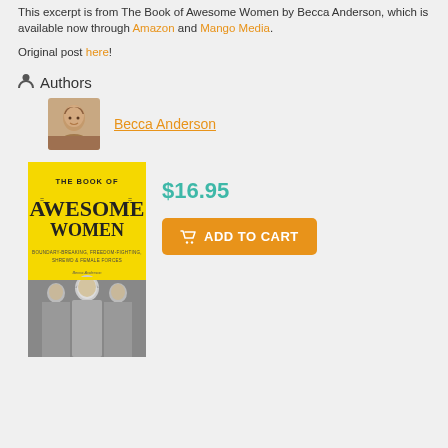This excerpt is from The Book of Awesome Women by Becca Anderson, which is available now through Amazon and Mango Media.
Original post here!
Authors
Becca Anderson
[Figure (photo): Author photo of Becca Anderson, a woman with light brown hair]
[Figure (photo): Book cover of The Book of Awesome Women by Becca Anderson, yellow cover with three women in black and white photo at bottom]
$16.95
ADD TO CART